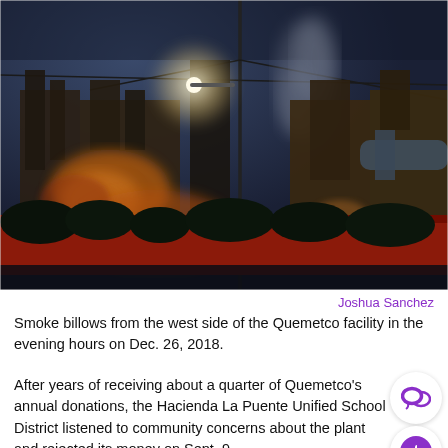[Figure (photo): Night photo of the Quemetco industrial facility. Large industrial buildings with smokestacks, a tall utility pole with power lines, bright flood lights illuminating the scene, and smoke or steam rising in the background. A red fence or wall is visible in the foreground with some dark vegetation in front of it. The sky is dark blue-grey.]
Joshua Sanchez
Smoke billows from the west side of the Quemetco facility in the evening hours on Dec. 26, 2018.
After years of receiving about a quarter of Quemetco's annual donations, the Hacienda La Puente Unified School District listened to community concerns about the plant and rejected its money on Sept. 9.